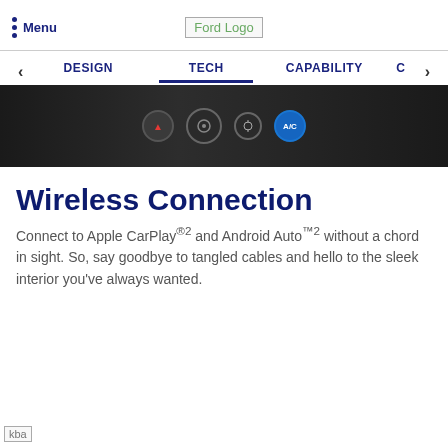Ford Logo
DESIGN | TECH | CAPABILITY | C
[Figure (photo): Dark car interior dashboard with control buttons including a red hazard triangle button and a blue A/C button]
Wireless Connection
Connect to Apple CarPlay®2 and Android Auto™2 without a chord in sight. So, say goodbye to tangled cables and hello to the sleek interior you've always wanted.
kba